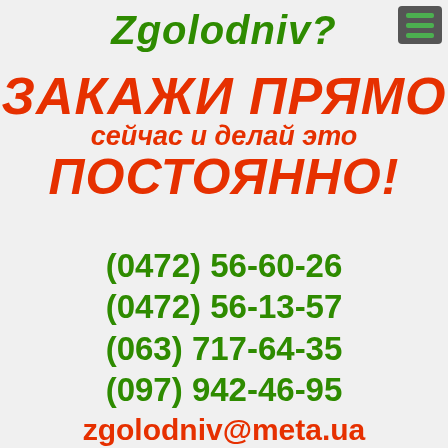Zgolodniv?
ЗАКАЖИ ПРЯМО сейчас и делай это ПОСТОЯННО!
(0472) 56-60-26
(0472) 56-13-57
(063) 717-64-35
(097) 942-46-95
zgolodniv@meta.ua